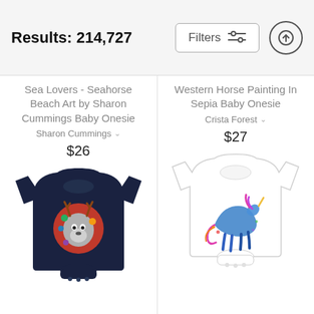Results: 214,727
Sea Lovers - Seahorse Beach Art by Sharon Cummings Baby Onesie
Sharon Cummings
$26
Western Horse Painting In Sepia Baby Onesie
Crista Forest
$27
[Figure (photo): Dark navy baby onesie with colorful animal/bear design in red and green tones]
[Figure (photo): White baby onesie with colorful watercolor unicorn design]